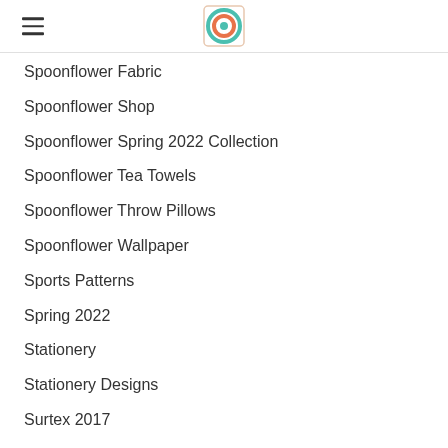Navigation menu with hamburger icon and logo
Spoonflower Fabric
Spoonflower Shop
Spoonflower Spring 2022 Collection
Spoonflower Tea Towels
Spoonflower Throw Pillows
Spoonflower Wallpaper
Sports Patterns
Spring 2022
Stationery
Stationery Designs
Surtex 2017
Surtex 2018
Swimwear
Tea Towel Designs
Tech Cases
TeePublic Shop
Textile Designs
Throw Pillows For Sale